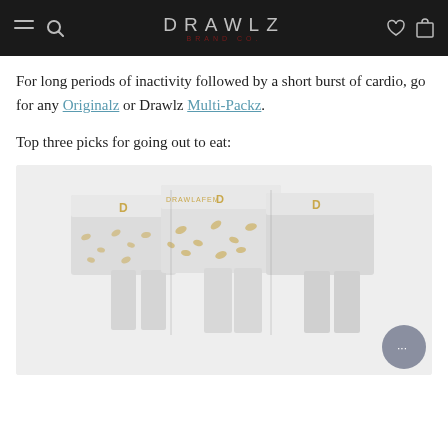DRAWLZ brand co.
For long periods of inactivity followed by a short burst of cardio, go for any Originalz or Drawlz Multi-Packz.
Top three picks for going out to eat:
[Figure (photo): Product photo showing three Drawlz brand boxer briefs in white/grey with gold lettering pattern, displayed folded side by side. Brand logo visible on waistbands.]